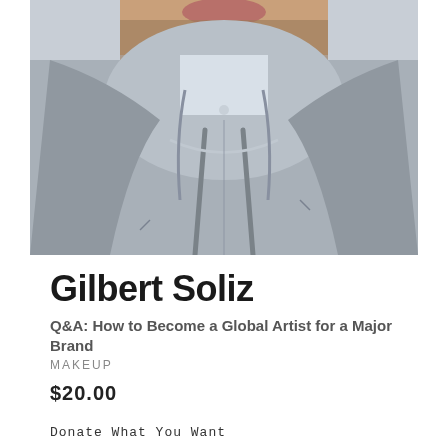[Figure (photo): Close-up photo of a man from chin/lips down, wearing a grey hoodie over a light blue collar shirt, with a silver chain necklace visible. Light grey background.]
Gilbert Soliz
Q&A: How to Become a Global Artist for a Major Brand
MAKEUP
$20.00
Donate What You Want